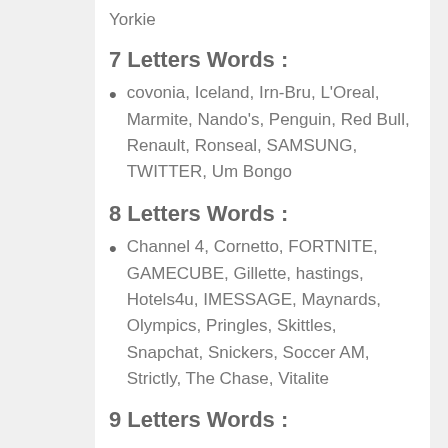Yorkie
7 Letters Words :
covonia, Iceland, Irn-Bru, L’Oreal, Marmite, Nando’s, Penguin, Red Bull, Renault, Ronseal, SAMSUNG, TWITTER, Um Bongo
8 Letters Words :
Channel 4, Cornetto, FORTNITE, GAMECUBE, Gillette, hastings, Hotels4u, IMESSAGE, Maynards, Olympics, Pringles, Skittles, Snapchat, Snickers, Soccer AM, Strictly, The Chase, Vitalite
9 Letters Words :